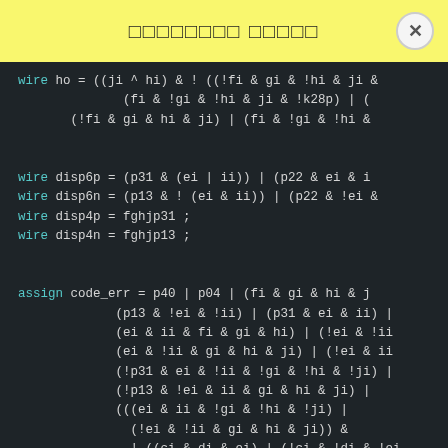□□□□□□□□ □□□□□
[Figure (screenshot): Dark-themed code editor screenshot showing Verilog/HDL wire and assign statements for digital logic, including wire declarations for ho, disp6p, disp6n, disp4p, disp4n, and an assign statement for code_err with complex boolean logic expressions.]